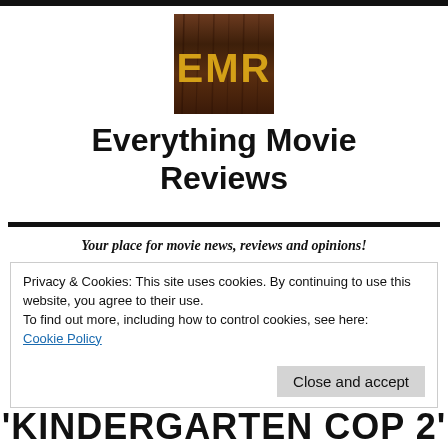[Figure (logo): EMR logo - brown wooden textured square with gold/yellow capital letters EMR]
Everything Movie Reviews
Your place for movie news, reviews and opinions!
Privacy & Cookies: This site uses cookies. By continuing to use this website, you agree to their use.
To find out more, including how to control cookies, see here: Cookie Policy
Close and accept
'KINDERGARTEN COP 2'